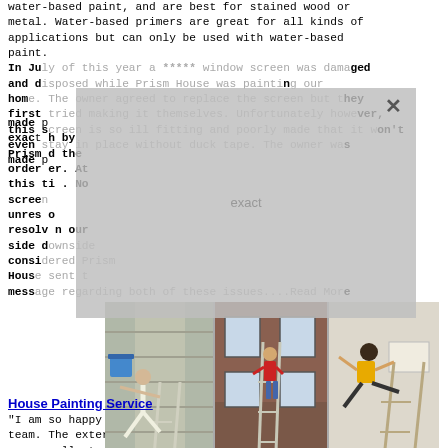water-based paint, and are best for stained wood or metal. Water-based primers are great for all kinds of applications but can only be used with water-based paint.
In July of this year a ***** window screen was damaged and disposed while Prism House was painting our home. The owner agreed to replace the screen but they first tried making it themselves. Unfortunately however, this screen is so ill fitting and poorly made that it won't even stay in place without duck tape. The owner was made aware of this situation and the exact replacement was offered to be paid by Prism House. We have communicated the order to the owner and await an answer. At this time it is still unresolved. No screen, issue unresolved, to resolve this issue on our side of the fence, we consider Prism House sent a message regarding both of these issues....Read More
[Figure (photo): Three photos of house painters on ladders working on exterior house painting]
House Painting Service
"I am so happy with the paint job done by Gene Gray and his team. The exterior of my house looks exquisite! Communication was excellent. The job was done promptly at a very fair price. The crew was professional